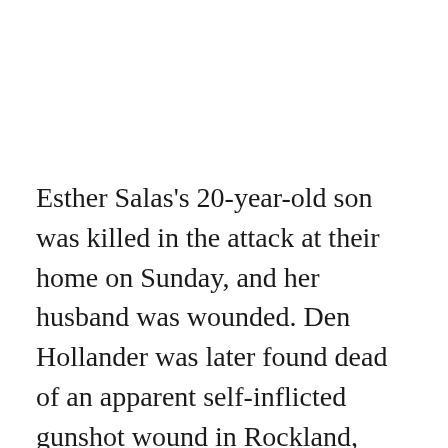Esther Salas's 20-year-old son was killed in the attack at their home on Sunday, and her husband was wounded. Den Hollander was later found dead of an apparent self-inflicted gunshot wound in Rockland, New York. Den Hollander's insults toward Salas were included in a 2,028-page collection of writings he posted online in 2019 under the username Roy17den, a handle that mirrored his Twitter account, @roy17den, and the email address he used both in personal letters and